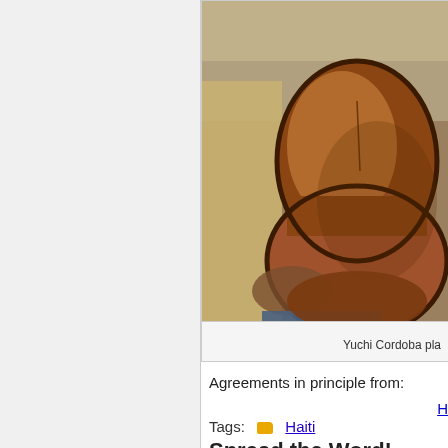[Figure (photo): Person holding a wooden acoustic guitar, cropped view showing mainly the guitar body against a blurred background. Caption: Yuchi Cordoba pla...]
Yuchi Cordoba pla
Agreements in principle from:
H
Tags:  Haiti
Spread the Word!
Buzz Up  Digg  Mixx  Twitt